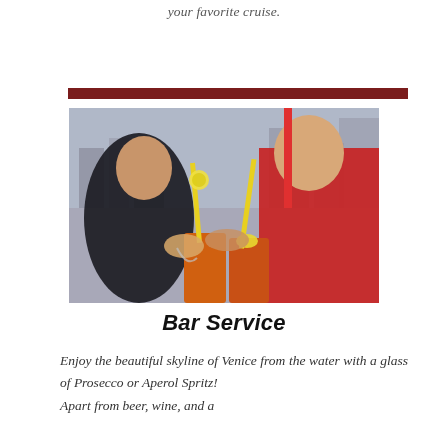your favorite cruise.
[Figure (photo): Two women holding orange cocktails (Aperol Spritz) with yellow straws and lemon slices, photographed from behind against a blurred cityscape background]
Bar Service
Enjoy the beautiful skyline of Venice from the water with a glass of Prosecco or Aperol Spritz!
Apart from beer, wine, and a